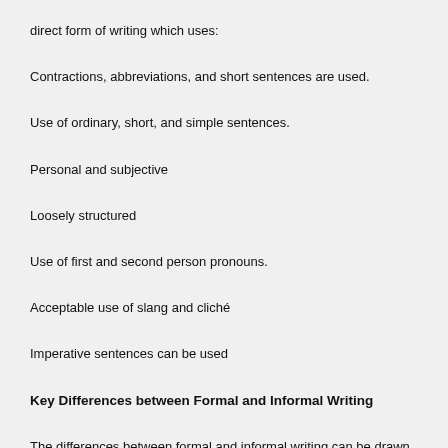direct form of writing which uses:
Contractions, abbreviations, and short sentences are used.
Use of ordinary, short, and simple sentences.
Personal and subjective
Loosely structured
Use of first and second person pronouns.
Acceptable use of slang and cliché
Imperative sentences can be used
Key Differences between Formal and Informal Writing
The differences between formal and informal writing can be drawn clearly on the following grounds: